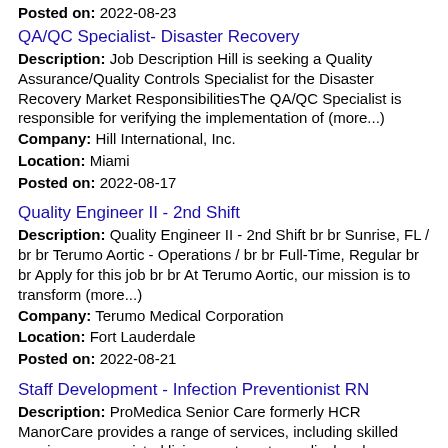Posted on: 2022-08-23
QA/QC Specialist- Disaster Recovery
Description: Job Description Hill is seeking a Quality Assurance/Quality Controls Specialist for the Disaster Recovery Market ResponsibilitiesThe QA/QC Specialist is responsible for verifying the implementation of (more...)
Company: Hill International, Inc.
Location: Miami
Posted on: 2022-08-17
Quality Engineer II - 2nd Shift
Description: Quality Engineer II - 2nd Shift br br Sunrise, FL / br br Terumo Aortic - Operations / br br Full-Time, Regular br br Apply for this job br br At Terumo Aortic, our mission is to transform (more...)
Company: Terumo Medical Corporation
Location: Fort Lauderdale
Posted on: 2022-08-21
Staff Development - Infection Preventionist RN
Description: ProMedica Senior Care formerly HCR ManorCare provides a range of services, including skilled nursing care, assisted living, post-acute medical and rehabilitation care, hospice care, home health care and (more...)
Company: ProMedica Health System
Location: Boca Raton
Posted on: 2022-08-22